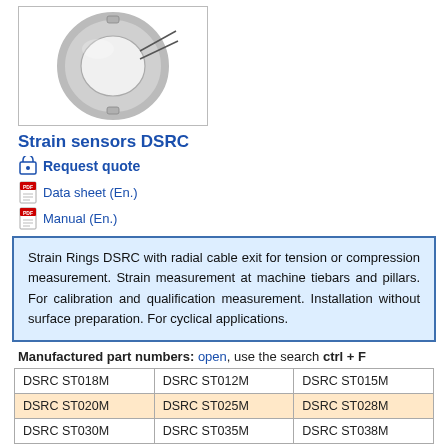[Figure (photo): Product photo of Strain sensor DSRC, a ring-shaped metal clamp sensor with radial cable exit, shown on white background inside a bordered box.]
Strain sensors DSRC
🛒 Request quote
📄 Data sheet (En.)
📄 Manual (En.)
Strain Rings DSRC with radial cable exit for tension or compression measurement. Strain measurement at machine tiebars and pillars. For calibration and qualification measurement. Installation without surface preparation. For cyclical applications.
Manufactured part numbers: open, use the search ctrl + F
| Col1 | Col2 | Col3 |
| --- | --- | --- |
| DSRC ST018M | DSRC ST012M | DSRC ST015M |
| DSRC ST020M | DSRC ST025M | DSRC ST028M |
| DSRC ST030M | DSRC ST035M | DSRC ST038M |